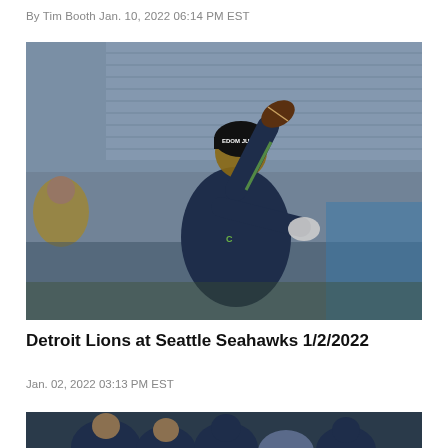By Tim Booth Jan. 10, 2022 06:14 PM EST
[Figure (photo): NFL quarterback in Seattle Seahawks navy uniform and black beanie hat, throwing a football during warmups on the field, with stadium seats in the background]
Detroit Lions at Seattle Seahawks 1/2/2022
Jan. 02, 2022 03:13 PM EST
[Figure (photo): NFL game action photo showing Seattle Seahawks players, partially visible, bottom of page]